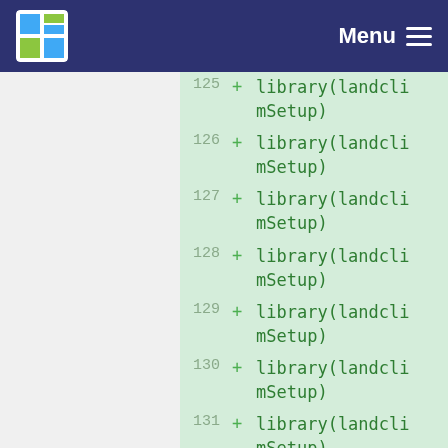Menu
125 + library(landclimSetup)
126 + library(landclimSetup)
127 + library(landclimSetup)
128 + library(landclimSetup)
129 + library(landclimSetup)
130 + library(landclimSetup)
131 + library(landclimSetup)
132 + library(landclimSetup)
133 + library(landclimSetup)
134 + library(landclimSetup)
135 + library(landcli...